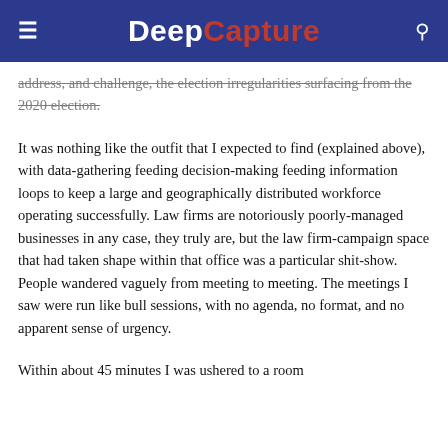DeepCapture
address, and challenge, the election irregularities surfacing from the 2020 election.
It was nothing like the outfit that I expected to find (explained above), with data-gathering feeding decision-making feeding information loops to keep a large and geographically distributed workforce operating successfully. Law firms are notoriously poorly-managed businesses in any case, they truly are, but the law firm-campaign space that had taken shape within that office was a particular shit-show. People wandered vaguely from meeting to meeting. The meetings I saw were run like bull sessions, with no agenda, no format, and no apparent sense of urgency.
Within about 45 minutes I was ushered to a room